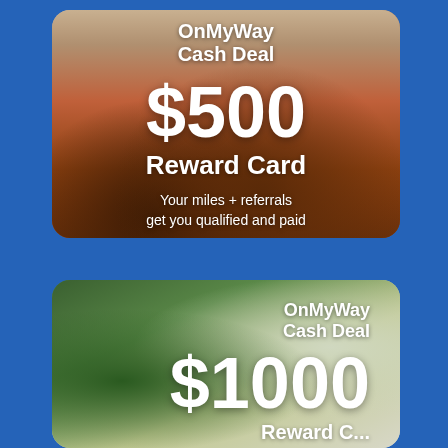[Figure (illustration): OnMyWay Cash Deal $500 Reward Card promotional card with a vintage red VW van on a beach road, text overlay reads 'OnMyWay Cash Deal $500 Reward Card — Your miles + referrals get you qualified and paid']
[Figure (illustration): OnMyWay Cash Deal $1000 Reward Card promotional card with a family (man, child, woman) outdoors, partially cropped at bottom]